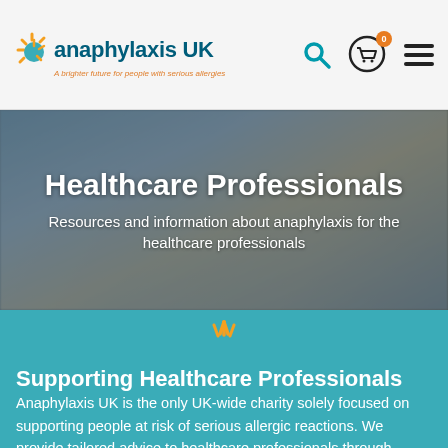anaphylaxis UK — A brighter future for people with serious allergies
[Figure (photo): Hero banner showing two pharmacy professionals in a pharmacy setting, overlaid with dark tint]
Healthcare Professionals
Resources and information about anaphylaxis for the healthcare professionals
Supporting Healthcare Professionals
Anaphylaxis UK is the only UK-wide charity solely focused on supporting people at risk of serious allergic reactions. We provide tailored advice to healthcare professionals through expert-led events and a national helpline. AllergyWise, by Anaphylaxis UK, offers a wide range of paid and free courses for the awareness and accreditation of anaphylaxis and allergic reaction responses for individuals and